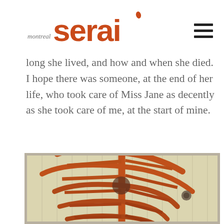montreal serai
long she lived, and how and when she died. I hope there was someone, at the end of her life, who took care of Miss Jane as decently as she took care of me, at the start of mine.
[Figure (photo): Polaroid-style photograph of a red spiral staircase against pale yellow vertical paneled wall. The staircase winds from bottom to top of the frame. A small round object (possibly a light or hook) is visible on the wall to the right.]